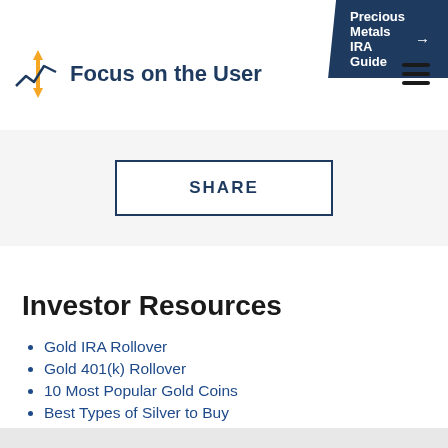Precious Metals IRA Guide →
[Figure (logo): Focus on the User logo with upward/downward arrow icon and line chart graphic]
[Figure (other): Hamburger menu icon (three horizontal lines)]
SHARE
Investor Resources
Gold IRA Rollover
Gold 401(k) Rollover
10 Most Popular Gold Coins
Best Types of Silver to Buy
Top 6 Rated Gold IRA Companies